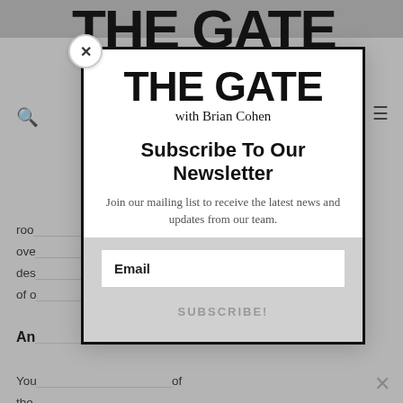[Figure (screenshot): Background webpage showing 'THE GATE with Brian Brian Cohen' publication with article text partially visible behind a modal popup.]
[Figure (other): Modal popup overlay for 'THE GATE with Brian Cohen' newsletter subscription. Contains logo, 'Subscribe To Our Newsletter' heading, description text, email input field, and SUBSCRIBE! button. A circular X close button appears at top left of modal and an X appears at bottom right.]
THE GATE
with Brian Cohen
Subscribe To Our Newsletter
Join our mailing list to receive the latest news and updates from our team.
Email
SUBSCRIBE!